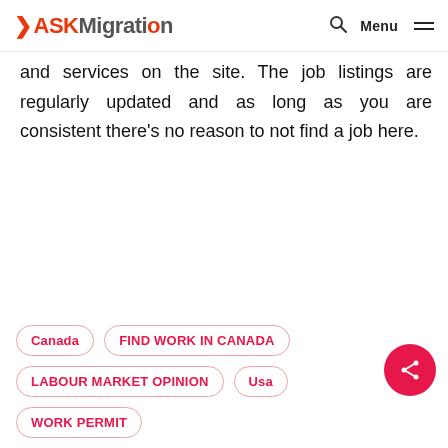ASKMigration — Menu
and services on the site. The job listings are regularly updated and as long as you are consistent there's no reason to not find a job here.
Canada
FIND WORK IN CANADA
LABOUR MARKET OPINION
Usa
WORK PERMIT